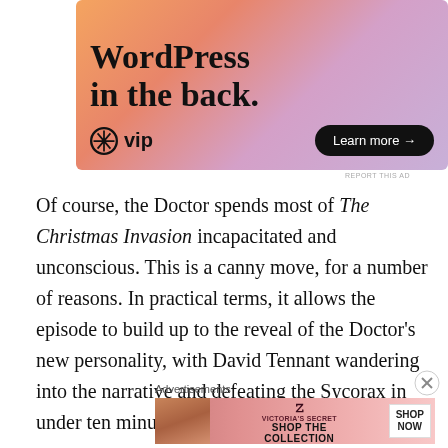[Figure (illustration): WordPress VIP advertisement with colorful gradient background (orange, pink, purple). Large bold text reads 'WordPress in the back.' with WordPress VIP logo on the left and a 'Learn more →' button on the right.]
Of course, the Doctor spends most of The Christmas Invasion incapacitated and unconscious. This is a canny move, for a number of reasons. In practical terms, it allows the episode to build up to the reveal of the Doctor's new personality, with David Tennant wandering into the narrative and defeating the Sycorax in under ten minutes.
Advertisements
[Figure (illustration): Victoria's Secret advertisement with pink gradient background. Shows a model on the left, Victoria's Secret logo in the center with text 'SHOP THE COLLECTION', and a white 'SHOP NOW' button on the right.]